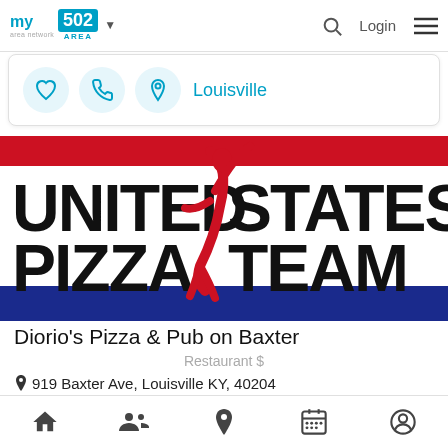my area network | 502 AREA ▾   🔍  Login  ☰
[Figure (screenshot): Three circular icon buttons (heart, phone, location pin) followed by the text Louisville in teal/cyan color]
[Figure (logo): United States Pizza Team logo with red and blue horizontal stripes, bold black text UNITED STATES PIZZA TEAM, and a red athlete figure in the center]
Diorio's Pizza & Pub on Baxter
Restaurant $
919 Baxter Ave, Louisville KY, 40204
DiOrio's prides itself on making their dough fresh daily
Home | People | Location | Calendar | Profile